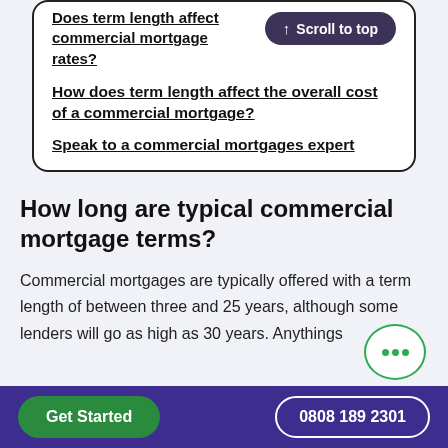Does term length affect commercial mortgage rates?
How does term length affect the overall cost of a commercial mortgage?
Speak to a commercial mortgages expert
How long are typical commercial mortgage terms?
Commercial mortgages are typically offered with a term length of between three and 25 years, although some lenders will go as high as 30 years. Anything
Get Started   0808 189 2301